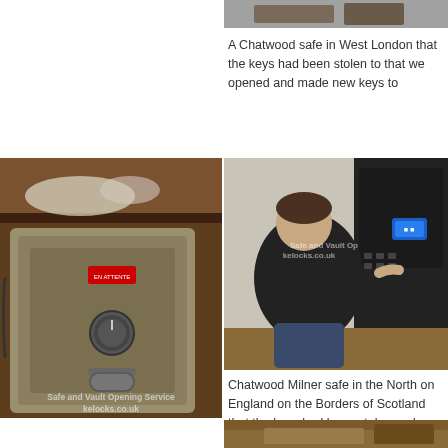[Figure (photo): Partial view of a safe or vault, top right, mostly cropped]
A Chatwood safe in West London that the keys had been stolen to that we opened and made new keys to
[Figure (photo): Close-up photo of a Chatwood Milner safe with a red sticker, dial and handle visible, watermark reads Safe and Vault Opening Service kelocks.co.uk]
[Figure (photo): Technician working on a large black safe, watermark reads Safe and Vault Opening Service kelocks.co.uk]
Chatwood Milner safe in the North on England on the Borders of Scotland that the keys had been stolen and we opened.
[Figure (photo): Bottom strip of a photo showing wooden interior, partially visible]